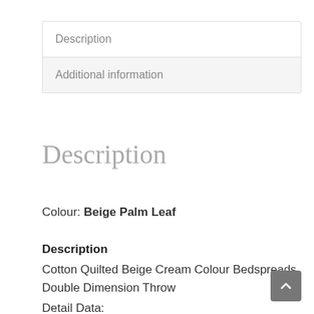Description
Additional information
Description
Colour: Beige Palm Leaf
Description
Cotton Quilted Beige Cream Colour Bedspreads Double Dimension Throw
Detail Data:
Each and every set contains 1 Bedspread and 2